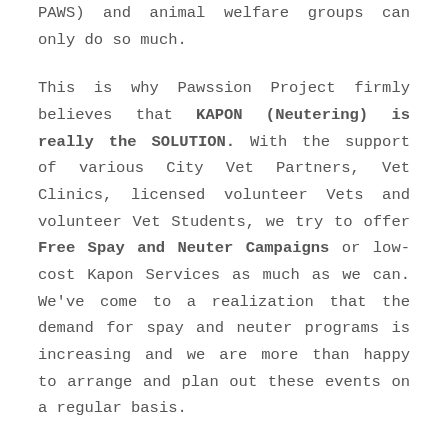PAWS) and animal welfare groups can only do so much.
This is why Pawssion Project firmly believes that KAPON (Neutering) is really the SOLUTION. With the support of various City Vet Partners, Vet Clinics, licensed volunteer Vets and volunteer Vet Students, we try to offer Free Spay and Neuter Campaigns or low-cost Kapon Services as much as we can. We've come to a realization that the demand for spay and neuter programs is increasing and we are more than happy to arrange and plan out these events on a regular basis.
But still, even if we offer it for free, expenses